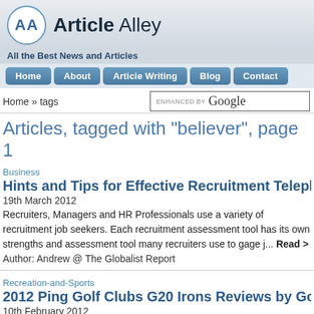[Figure (logo): Article Alley website logo with AA circle emblem and site name]
All the Best News and Articles
Home
About
Article Writing
Blog
Contact
Home » tags
Articles, tagged with "believer", page 1
Business
Hints and Tips for Effective Recruitment Telephone Job Inte
19th March 2012
Recruiters, Managers and HR Professionals use a variety of recruitment job seekers. Each recruitment assessment tool has its own strengths and assessment tool many recruiters use to gage j... Read >
Author: Andrew @ The Globalist Report
Recreation-and-Sports
2012 Ping Golf Clubs G20 Irons Reviews by Golf Shop
10th February 2012
Are you looking for new Ping golf clubs for 2012? This blog post may giv